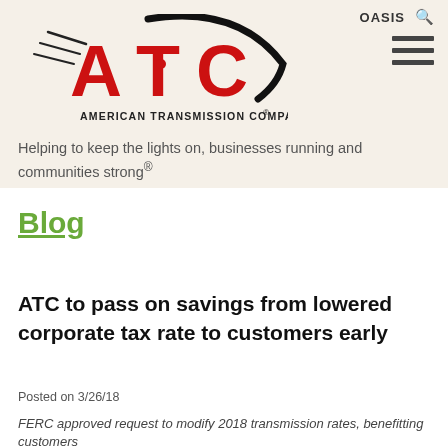[Figure (logo): American Transmission Company (ATC) logo with red bold letters ATC and swoosh design, with text AMERICAN TRANSMISSION COMPANY and registered trademark symbol]
OASIS 🔍
Helping to keep the lights on, businesses running and communities strong®
Blog
ATC to pass on savings from lowered corporate tax rate to customers early
Posted on 3/26/18
FERC approved request to modify 2018 transmission rates, benefitting customers